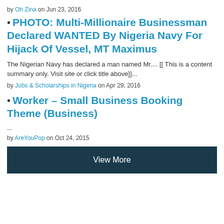by Oh Zina on Jun 23, 2016
PHOTO: Multi-Millionaire Businessman Declared WANTED By Nigeria Navy For Hijack Of Vessel, MT Maximus
The Nigerian Navy has declared a man named Mr.... [[ This is a content summary only. Visit site or click title above]]...
by Jobs & Scholarships in Nigeria on Apr 29, 2016
Worker – Small Business Booking Theme (Business)
...
by AreYouPop on Oct 24, 2015
View More